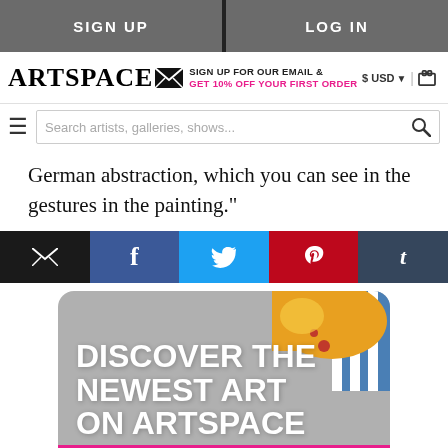SIGN UP | LOG IN
ARTSPACE — SIGN UP FOR OUR EMAIL & GET 10% OFF YOUR FIRST ORDER — $ USD | cart
Search artists, galleries, shows...
German abstraction, which you can see in the gestures in the painting."
[Figure (infographic): Social share bar with email, Facebook, Twitter, Pinterest, and Tumblr buttons]
[Figure (infographic): Promotional banner with rounded top corners reading DISCOVER THE NEWEST ART ON ARTSPACE with colorful artwork visible in top-right corner]